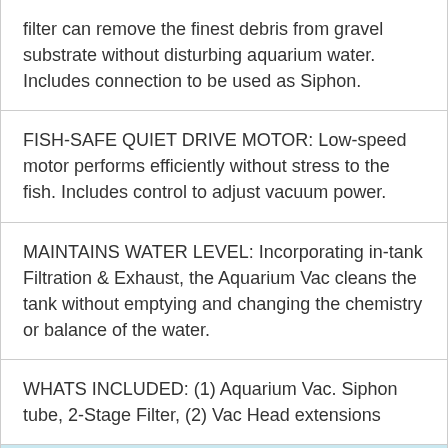filter can remove the finest debris from gravel substrate without disturbing aquarium water. Includes connection to be used as Siphon.
FISH-SAFE QUIET DRIVE MOTOR: Low-speed motor performs efficiently without stress to the fish. Includes control to adjust vacuum power.
MAINTAINS WATER LEVEL: Incorporating in-tank Filtration & Exhaust, the Aquarium Vac cleans the tank without emptying and changing the chemistry or balance of the water.
WHATS INCLUDED: (1) Aquarium Vac. Siphon tube, 2-Stage Filter, (2) Vac Head extensions
Manufacture: Water Tech